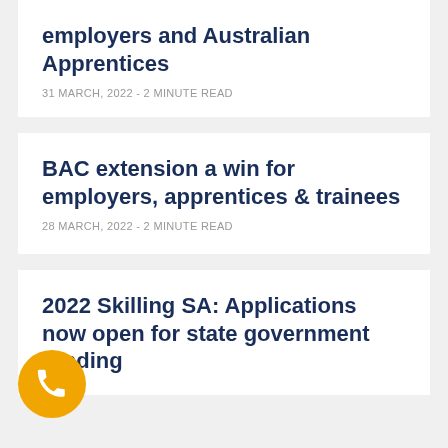employers and Australian Apprentices
31 MARCH, 2022 - 2 MINUTE READ
BAC extension a win for employers, apprentices & trainees
28 MARCH, 2022 - 2 MINUTE READ
2022 Skilling SA: Applications now open for state government funding